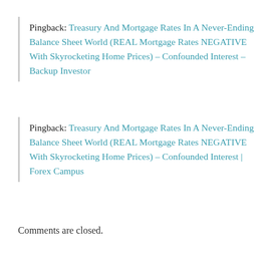Pingback: Treasury And Mortgage Rates In A Never-Ending Balance Sheet World (REAL Mortgage Rates NEGATIVE With Skyrocketing Home Prices) – Confounded Interest – Backup Investor
Pingback: Treasury And Mortgage Rates In A Never-Ending Balance Sheet World (REAL Mortgage Rates NEGATIVE With Skyrocketing Home Prices) – Confounded Interest | Forex Campus
Comments are closed.